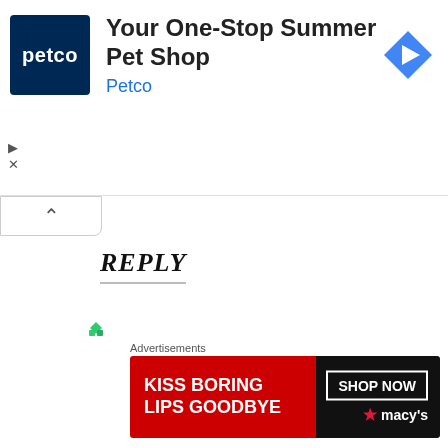[Figure (infographic): Petco advertisement banner: Petco logo (blue square with 'petco'), headline 'Your One-Stop Summer Pet Shop', subline 'Petco', blue diamond navigation icon on right. Play and X controls on left.]
[Figure (illustration): Green dotted/arrow circular loading or decorative icon]
REPLY
aspoonfulpofvanilla
June 27, 2020 at 12:47 pm
This is such a great idea! I love the thought of
Advertisements
[Figure (infographic): Macy's advertisement banner: 'KISS BORING LIPS GOODBYE' in white text on red background, woman's face with red lips, SHOP NOW button and Macy's star logo on dark right side.]